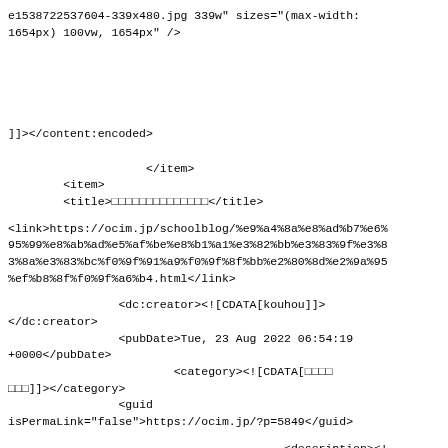e1538722537604-339x480.jpg 339w" sizes="(max-width: 1654px) 100vw, 1654px" /></a></p>
<p>&nbsp;</p>
]]></content:encoded>
</item>
        <item>
        <title>□□□□□□□□□□□□□□</title>
<link>https://ocim.jp/schoolblog/%e9%a4%8a%e8%ad%b7%e6%95%99%e8%ab%ad%e5%af%be%e8%b1%a1%e3%82%bb%e3%83%9f%e3%83%8a%e3%83%bc%f0%9f%91%a9%f0%9f%8f%bb%e2%80%8d%e2%9a%95%ef%b8%8f%f0%9f%a6%b4.html</link>
<dc:creator><![CDATA[kouhou]]>
</dc:creator>
                <pubDate>Tue, 23 Aug 2022 06:54:19 +0000</pubDate>
                        <category><![CDATA[□□□□□□□]]></category>
                <guid isPermaLink="false">https://ocim.jp/?p=5849</guid>
<description><![CDATA[8/22□□□□□□□□□□□□□□□□□□□□□□□□ □□□□□□□□□□□□□□□□□□ □□□□□□□□□□□□□□□□□□□□□□□□□□□□□□□□□□ □□□□□□□□ □□□□□ □□□□□□□□ [&#8230;]]></description>